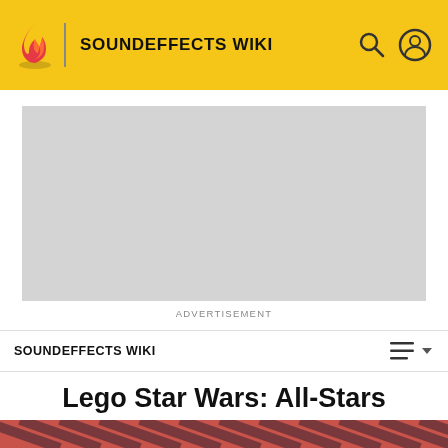SOUNDEFFECTS WIKI
[Figure (other): Advertisement placeholder gray box]
ADVERTISEMENT
SOUNDEFFECTS WIKI
Lego Star Wars: All-Stars
[Figure (photo): Red and dark diagonal striped background with a dark-haired person in dark clothing at the bottom of the page]